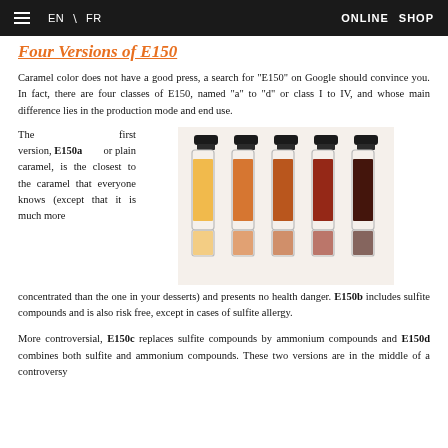≡  EN / FR   ONLINE  SHOP
Four Versions of E150
Caramel color does not have a good press, a search for "E150" on Google should convince you. In fact, there are four classes of E150, named "a" to "d" or class I to IV, and whose main difference lies in the production mode and end use.
The first version, E150a or plain caramel, is the closest to the caramel that everyone knows (except that it is much more concentrated than the one in your desserts) and presents no health danger. E150b includes sulfite compounds and is also risk free, except in cases of sulfite allergy.
[Figure (photo): Five glass bottles filled with liquids ranging in color from pale yellow/amber (leftmost) to deep dark brown/black (rightmost), illustrating the four versions of E150 caramel color additives.]
More controversial, E150c replaces sulfite compounds by ammonium compounds and E150d combines both sulfite and ammonium compounds. These two versions are in the middle of a controversy